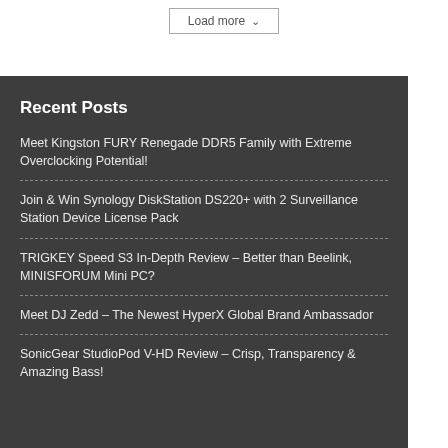Recent Posts
Meet Kingston FURY Renegade DDR5 Family with Extreme Overclocking Potential!
Join & Win Synology DiskStation DS220+ with 2 Surveillance Station Device License Pack
TRIGKEY Speed S3 In-Depth Review – Better than Beelink, MINISFORUM Mini PC?
Meet DJ Zedd – The Newest HyperX Global Brand Ambassador
SonicGear StudioPod V-HD Review – Crisp, Transparency & Amazing Bass!